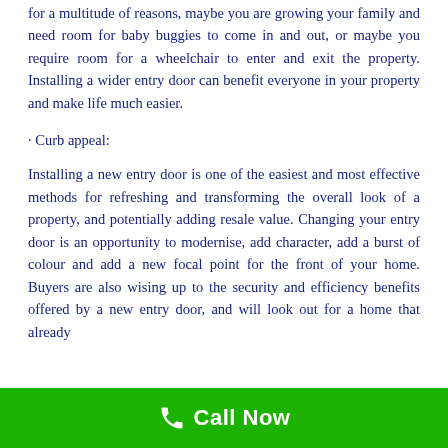for a multitude of reasons, maybe you are growing your family and need room for baby buggies to come in and out, or maybe you require room for a wheelchair to enter and exit the property. Installing a wider entry door can benefit everyone in your property and make life much easier.
· Curb appeal:
Installing a new entry door is one of the easiest and most effective methods for refreshing and transforming the overall look of a property, and potentially adding resale value. Changing your entry door is an opportunity to modernise, add character, add a burst of colour and add a new focal point for the front of your home. Buyers are also wising up to the security and efficiency benefits offered by a new entry door, and will look out for a home that already
Call Now